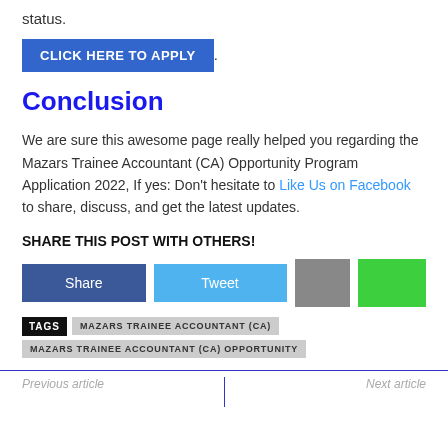status.
CLICK HERE TO APPLY .
Conclusion
We are sure this awesome page really helped you regarding the Mazars Trainee Accountant (CA) Opportunity Program Application 2022, If yes: Don't hesitate to Like Us on Facebook to share, discuss, and get the latest updates.
SHARE THIS POST WITH OTHERS!
Share  Tweet
TAGS  MAZARS TRAINEE ACCOUNTANT (CA)  MAZARS TRAINEE ACCOUNTANT (CA) OPPORTUNITY
Previous article
Next article